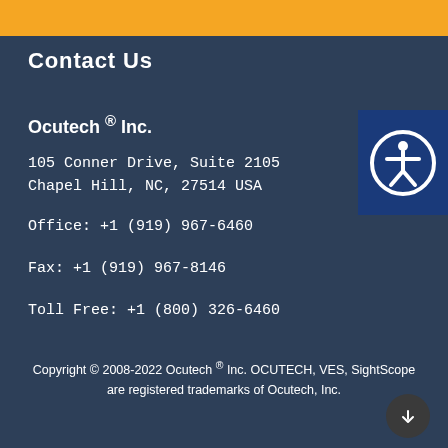[Figure (other): Orange banner bar at top of page]
Contact Us
Ocutech ® Inc.
105 Conner Drive, Suite 2105
Chapel Hill, NC, 27514 USA
Office: +1 (919) 967-6460
Fax: +1 (919) 967-8146
Toll Free: +1 (800) 326-6460
[Figure (illustration): Accessibility icon — white person in circle on blue background]
Copyright © 2008-2022 Ocutech ® Inc. OCUTECH, VES, SightScope are registered trademarks of Ocutech, Inc.